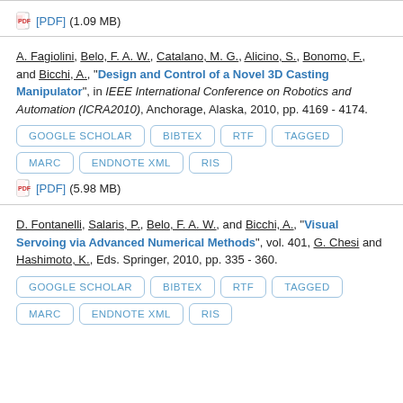[PDF] (1.09 MB)
A. Fagiolini, Belo, F. A. W., Catalano, M. G., Alicino, S., Bonomo, F., and Bicchi, A., "Design and Control of a Novel 3D Casting Manipulator", in IEEE International Conference on Robotics and Automation (ICRA2010), Anchorage, Alaska, 2010, pp. 4169 - 4174.
GOOGLE SCHOLAR
BIBTEX
RTF
TAGGED
MARC
ENDNOTE XML
RIS
[PDF] (5.98 MB)
D. Fontanelli, Salaris, P., Belo, F. A. W., and Bicchi, A., "Visual Servoing via Advanced Numerical Methods", vol. 401, G. Chesi and Hashimoto, K., Eds. Springer, 2010, pp. 335 - 360.
GOOGLE SCHOLAR
BIBTEX
RTF
TAGGED
MARC
ENDNOTE XML
RIS